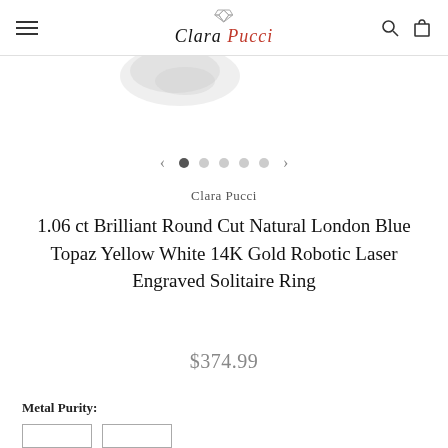Clara Pucci — navigation bar with hamburger menu, logo, search and cart icons
[Figure (photo): Partial view of a ring photographed on white background, cropped at top]
[Figure (other): Carousel navigation: left arrow, five dots (first filled/active), right arrow]
Clara Pucci
1.06 ct Brilliant Round Cut Natural London Blue Topaz Yellow White 14K Gold Robotic Laser Engraved Solitaire Ring
$374.99
Metal Purity: